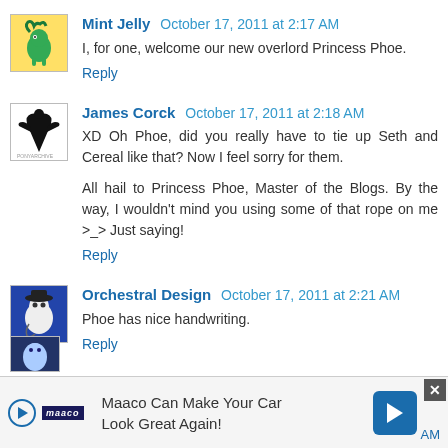Mint Jelly — October 17, 2011 at 2:17 AM
I, for one, welcome our new overlord Princess Phoe.
Reply
James Corck — October 17, 2011 at 2:18 AM
XD Oh Phoe, did you really have to tie up Seth and Cereal like that? Now I feel sorry for them.

All hail to Princess Phoe, Master of the Blogs. By the way, I wouldn't mind you using some of that rope on me >_> Just saying!
Reply
Orchestral Design — October 17, 2011 at 2:21 AM
Phoe has nice handwriting.
Reply
Maaco Can Make Your Car Look Great Again!